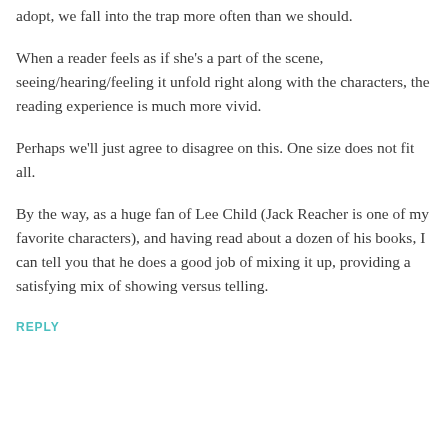adopt, we fall into the trap more often than we should.
When a reader feels as if she's a part of the scene, seeing/hearing/feeling it unfold right along with the characters, the reading experience is much more vivid.
Perhaps we'll just agree to disagree on this. One size does not fit all.
By the way, as a huge fan of Lee Child (Jack Reacher is one of my favorite characters), and having read about a dozen of his books, I can tell you that he does a good job of mixing it up, providing a satisfying mix of showing versus telling.
REPLY